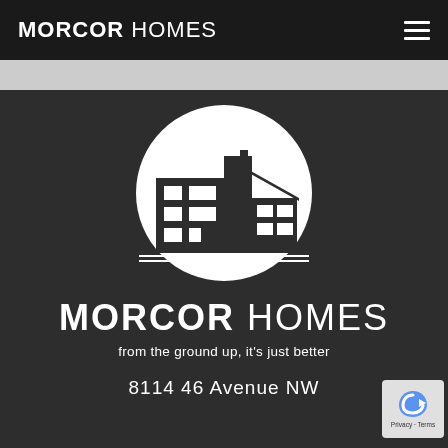MORCOR HOMES
[Figure (logo): Morcor Homes logo: white circle with dark building silhouette icon, two horizontal white lines below the circle, above large text reading MORCOR HOMES on dark background]
MORCOR HOMES
from the ground up, it's just better
8114 46 Avenue NW